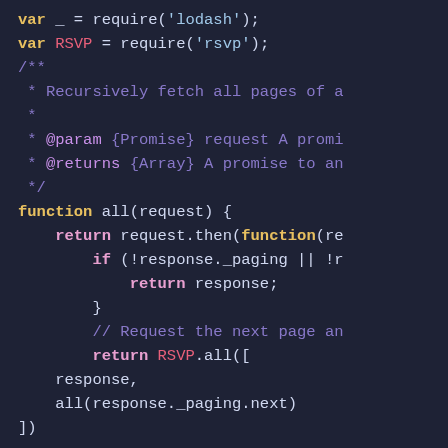[Figure (screenshot): Code screenshot showing JavaScript source code with syntax highlighting on a dark navy background. Code includes require statements for lodash and rsvp, a JSDoc comment block, and a function named 'all' that recursively fetches paginated data using RSVP promises.]